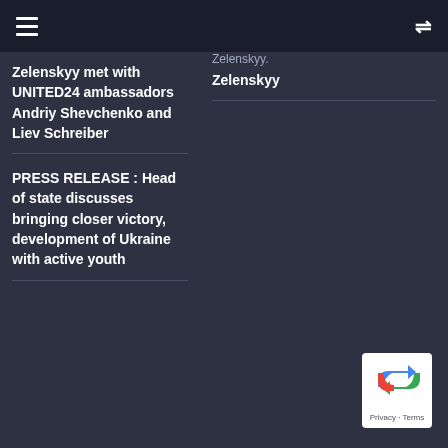Navigation header with hamburger menu and shuffle icon
Zelenskyy met with UNITED24 ambassadors Andriy Shevchenko and Liev Schreiber
Zelenskyy
PRESS RELEASE : Head of state discusses bringing closer victory, development of Ukraine with active youth
[Figure (logo): Google reCAPTCHA badge with Privacy and Terms links]